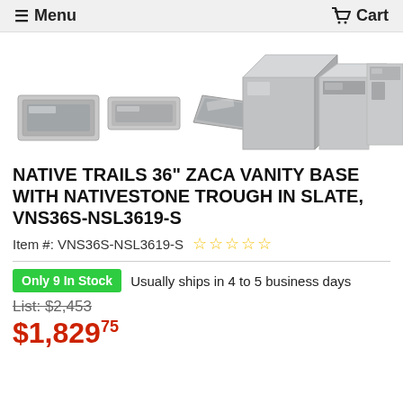≡ Menu   Cart
[Figure (photo): Product images of Native Trails 36 inch Zaca Vanity Base with Nativestone Trough in Slate, showing multiple angles of the stainless steel vanity base and trough sink.]
NATIVE TRAILS 36" ZACA VANITY BASE WITH NATIVESTONE TROUGH IN SLATE, VNS36S-NSL3619-S
Item #: VNS36S-NSL3619-S ☆☆☆☆☆
Only 9 In Stock  Usually ships in 4 to 5 business days
List: $2,453
$1,82975